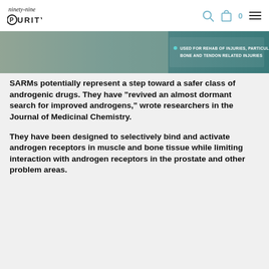ninety-nine PURITY
[Figure (photo): Partial banner image showing a person and text overlay: USED FOR REHAB OF INJURIES, PARTICULARLY BONE AND TENDON RELATED INJURIES]
SARMs potentially represent a step toward a safer class of androgenic drugs. They have “revived an almost dormant search for improved androgens,” wrote researchers in the Journal of Medicinal Chemistry.
They have been designed to selectively bind and activate androgen receptors in muscle and bone tissue while limiting interaction with androgen receptors in the prostate and other problem areas.